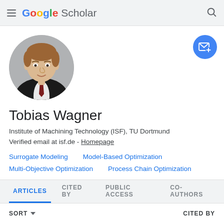Google Scholar
[Figure (photo): Circular profile photo of Tobias Wagner, a man in a dark suit and tie with light reddish-brown hair, against a grey background]
Tobias Wagner
Institute of Machining Technology (ISF), TU Dortmund
Verified email at isf.de - Homepage
Surrogate Modeling
Model-Based Optimization
Multi-Objective Optimization
Process Chain Optimization
ARTICLES   CITED BY   PUBLIC ACCESS   CO-AUTHORS
SORT ▾   CITED BY